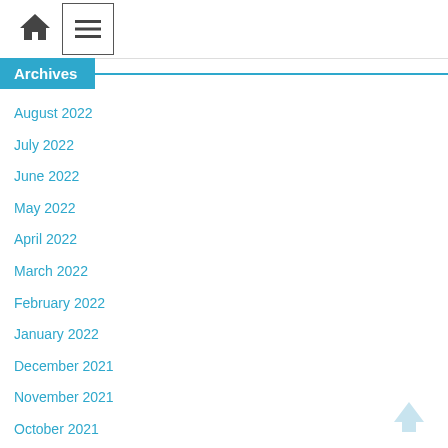Home | Menu
Archives
August 2022
July 2022
June 2022
May 2022
April 2022
March 2022
February 2022
January 2022
December 2021
November 2021
October 2021